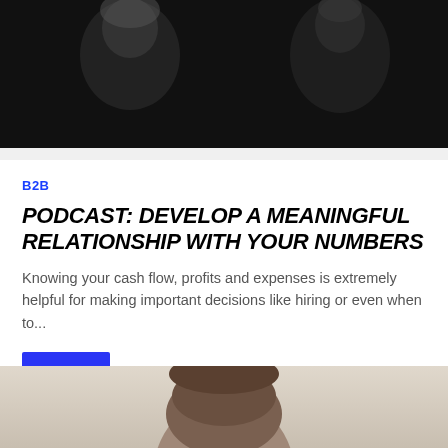[Figure (photo): Dark background podcast/media player interface with two people visible at top, showing a podcast player bar with thumbnail, shuffle, rewind, play, fast-forward, and repeat controls]
B2B
PODCAST: DEVELOP A MEANINGFUL RELATIONSHIP WITH YOUR NUMBERS
Knowing your cash flow, profits and expenses is extremely helpful for making important decisions like hiring or even when to...
[Figure (other): Blue square button with white cursor/arrow icon]
[Figure (photo): Bottom portion showing top of a person's head with brown hair, light background]